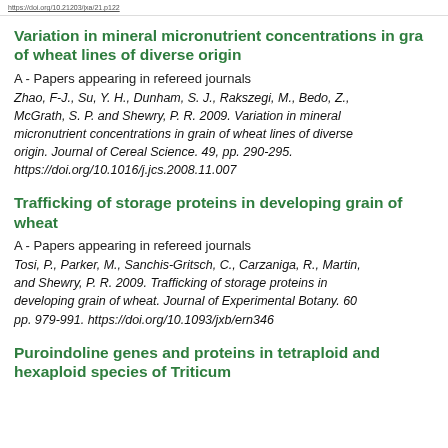https://doi.org/10.21203/jxa/21.p122
Variation in mineral micronutrient concentrations in grain of wheat lines of diverse origin
A - Papers appearing in refereed journals
Zhao, F-J., Su, Y. H., Dunham, S. J., Rakszegi, M., Bedo, Z., McGrath, S. P. and Shewry, P. R. 2009. Variation in mineral micronutrient concentrations in grain of wheat lines of diverse origin. Journal of Cereal Science. 49, pp. 290-295. https://doi.org/10.1016/j.jcs.2008.11.007
Trafficking of storage proteins in developing grain of wheat
A - Papers appearing in refereed journals
Tosi, P., Parker, M., Sanchis-Gritsch, C., Carzaniga, R., Martin, and Shewry, P. R. 2009. Trafficking of storage proteins in developing grain of wheat. Journal of Experimental Botany. 60, pp. 979-991. https://doi.org/10.1093/jxb/ern346
Puroindoline genes and proteins in tetraploid and hexaploid species of Triticum